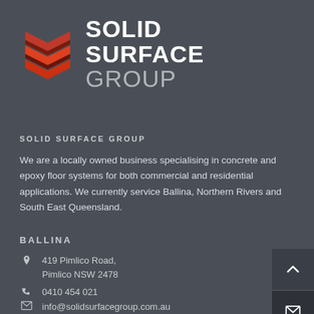[Figure (logo): Solid Surface Group logo: stylized red and dark chevron/S shape icon with white bold text SOLID SURFACE and lighter GROUP]
SOLID SURFACE GROUP
We are a locally owned business specialising in concrete and epoxy floor systems for both commercial and residential applications. We currently service Ballina, Northern Rivers and South East Queensland.
BALLINA
419 Pimlico Road, Pimlico NSW 2478
0410 454 021
info@solidsurfacegroup.com.au